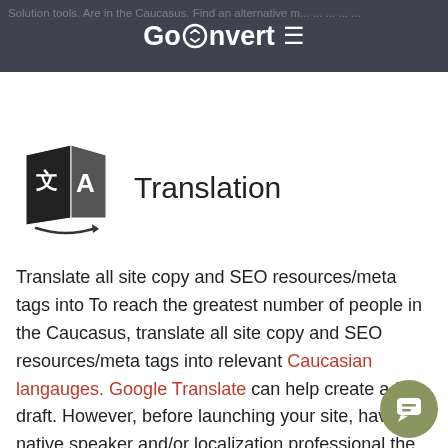GoConvert
Translation
Translate all site copy and SEO resources/meta tags into To reach the greatest number of people in the Caucasus, translate all site copy and SEO resources/meta tags into relevant Caucasian langauges. Google Translate can help create a first draft. However, before launching your site, have a native speaker and/or localization professional the translated copy to ensure it communicates cle...